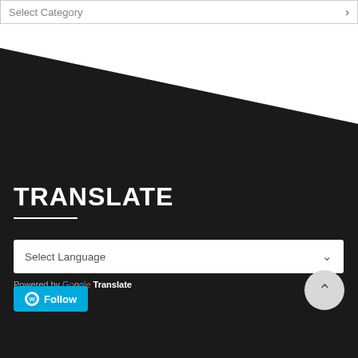Select Category
TRANSLATE
Select Language
Powered by Google Translate
[Figure (screenshot): Scroll to top circular button with upward chevron]
[Figure (screenshot): WordPress Follow button in blue with WP logo]